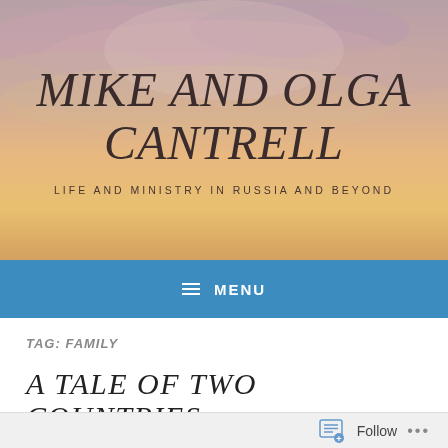[Figure (photo): Sunset sky background with orange, pink, and purple clouds — used as blog header image]
MIKE AND OLGA CANTRELL
LIFE AND MINISTRY IN RUSSIA AND BEYOND
≡  MENU
TAG: FAMILY
A TALE OF TWO COUNTRIES
Follow ...